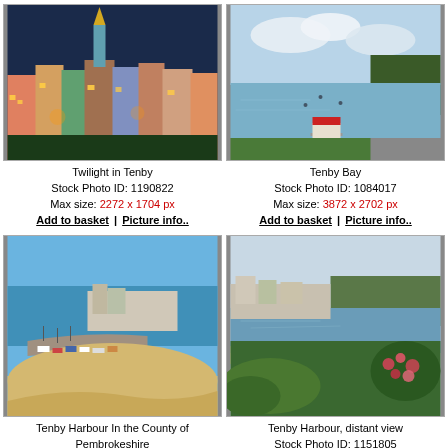[Figure (photo): Twilight in Tenby - colorful buildings with illuminated church steeple at dusk]
Twilight in Tenby
Stock Photo ID: 1190822
Max size: 2272 x 1704 px
Add to basket | Picture info..
[Figure (photo): Tenby Bay - harbour with pier and red-roofed building, calm sea and headland]
Tenby Bay
Stock Photo ID: 1084017
Max size: 3872 x 2702 px
Add to basket | Picture info..
[Figure (photo): Tenby Harbour In the County of Pembrokeshire - sandy harbour with boats at low tide]
Tenby Harbour In the County of Pembrokeshire
Stock Photo ID: 1201860
Max size: 2497 x 2170 px
Add to basket | Picture info..
[Figure (photo): Tenby Harbour, distant view - harbour and town viewed through flowering bushes]
Tenby Harbour, distant view
Stock Photo ID: 1151805
Max size: 1800 x 1708 px